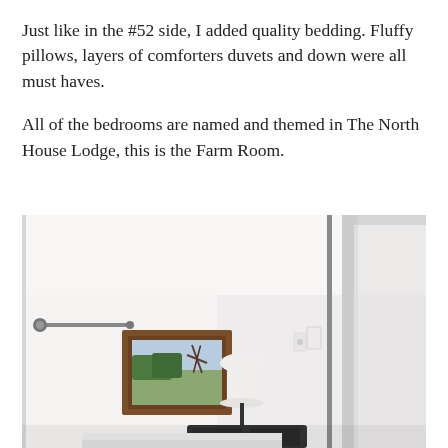Just like in the #52 side, I added quality bedding. Fluffy pillows, layers of comforters duvets and down were all must haves.
All of the bedrooms are named and themed in The North House Lodge, this is the Farm Room.
[Figure (photo): Interior photo of a bedroom hallway or entryway, showing white walls, a framed landscape painting with a wooden frame, a lamp, a door frame on the right, and a curtain rod. The room is bright and airy with a farm-themed decor.]